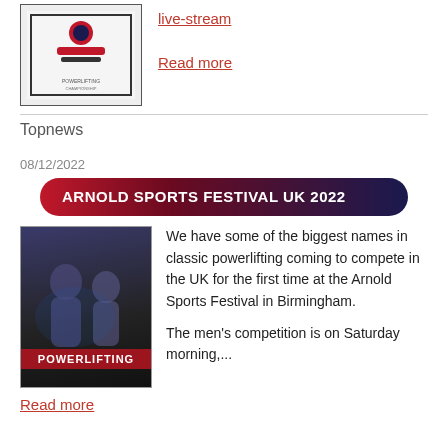[Figure (photo): Powerlifting championship poster/logo image]
live-stream
Read more
Topnews
08/12/2022
ARNOLD SPORTS FESTIVAL UK 2022
[Figure (photo): Powerlifting event promotional image with athletes and POWERLIFTING text]
We have some of the biggest names in classic powerlifting coming to compete in the UK for the first time at the Arnold Sports Festival in Birmingham.

The men's competition is on Saturday morning,...
Read more